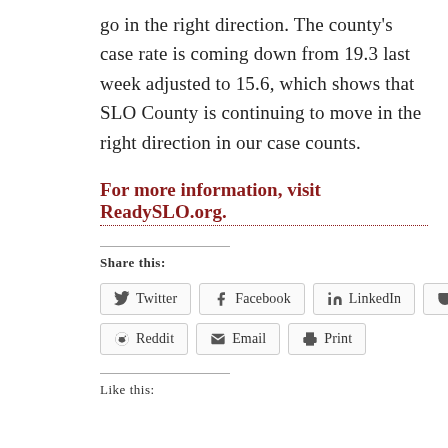go in the right direction. The county's case rate is coming down from 19.3 last week adjusted to 15.6, which shows that SLO County is continuing to move in the right direction in our case counts.
For more information, visit ReadySLO.org.
Share this:
Twitter
Facebook
LinkedIn
Pocket
Reddit
Email
Print
Like this: